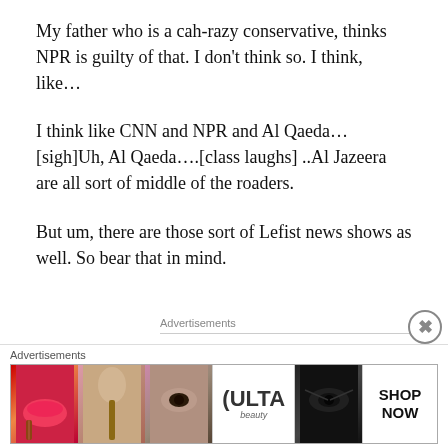My father who is a cah-razy conservative, thinks NPR is guilty of that. I don't think so. I think, like…
I think like CNN and NPR and Al Qaeda… [sigh]Uh, Al Qaeda….[class laughs] ..Al Jazeera are all sort of middle of the roaders.
But um, there are those sort of Lefist news shows as well. So bear that in mind.
Advertisements
[Figure (logo): AUTOMATTIC logo with circular O in teal]
Build a better web
Advertisements
[Figure (photo): ULTA beauty advertisement banner with makeup imagery and SHOP NOW button]